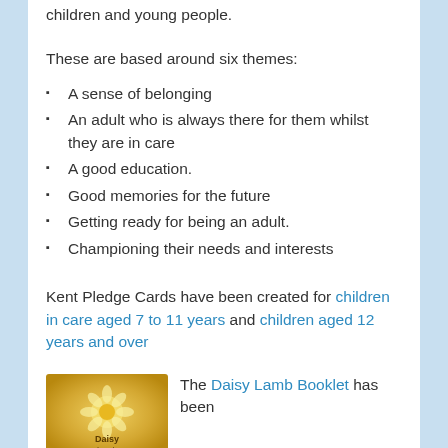children and young people.
These are based around six themes:
A sense of belonging
An adult who is always there for them whilst they are in care
A good education.
Good memories for the future
Getting ready for being an adult.
Championing their needs and interests
Kent Pledge Cards have been created for children in care aged 7 to 11 years and children aged 12 years and over
[Figure (photo): Daisy Lamb booklet cover with golden/yellow background]
The Daisy Lamb Booklet has been